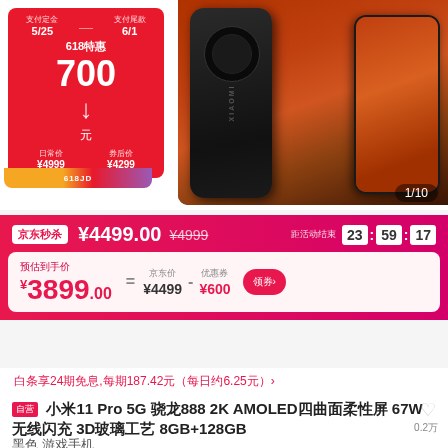[Figure (photo): Xiaomi 11 Pro smartphone product photo showing back and front of the device against a rocky canyon background, with a red promotional badge showing 618 sale discount of 700 yuan, original price ¥4999, after-coupon price ¥4299. Dates shown: 5/25 deposit, 6/1 final payment. Page indicator 1/10 shown.]
¥4499.00 ¥4999 距活动结束 23 : 59 : 17
预估到手价 ¥3899.00 = 京东价 ¥4499 - 优惠券 ¥600 领券
白条享24期免息,每期187.42元（每日约6.25元）›
自营 小米11 Pro 5G 骁龙888 2K AMOLED四曲面柔性屏 67W无线闪充 3D玻璃工艺 8GB+128GB 黑色 游戏手机
0.2万